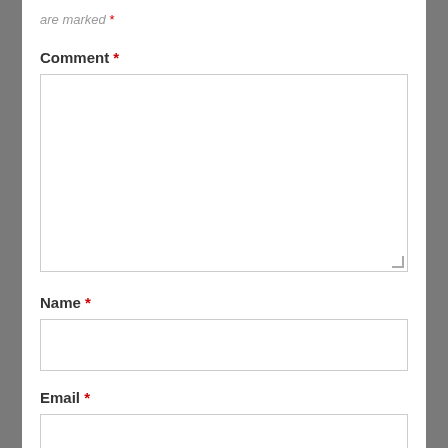are marked *
Comment *
[Figure (other): Comment textarea input box, empty, with resize handle at bottom-right]
Name *
[Figure (other): Name text input box, empty]
Email *
[Figure (other): Email text input box, empty]
Website